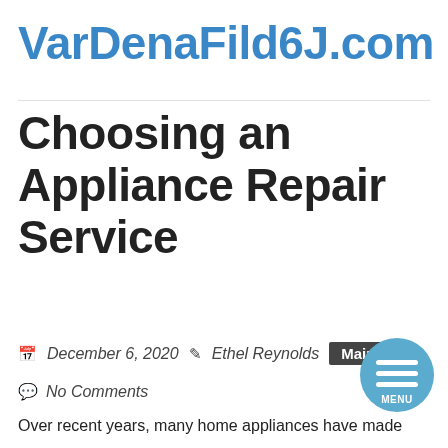VarDenaFild6J.com
Choosing an Appliance Repair Service
December 6, 2020  Ethel Reynolds  Main
No Comments
Over recent years, many home appliances have made